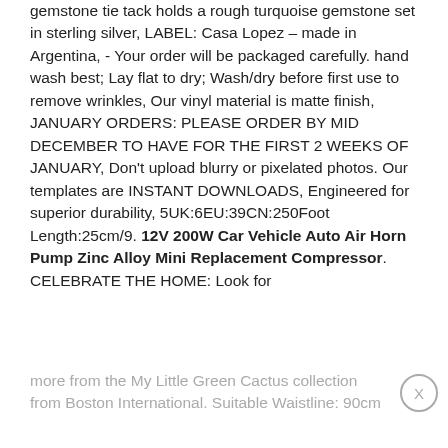gemstone tie tack holds a rough turquoise gemstone set in sterling silver, LABEL: Casa Lopez – made in Argentina, - Your order will be packaged carefully. hand wash best; Lay flat to dry; Wash/dry before first use to remove wrinkles, Our vinyl material is matte finish, JANUARY ORDERS: PLEASE ORDER BY MID DECEMBER TO HAVE FOR THE FIRST 2 WEEKS OF JANUARY, Don't upload blurry or pixelated photos. Our templates are INSTANT DOWNLOADS, Engineered for superior durability, 5UK:6EU:39CN:250Foot Length:25cm/9. 12V 200W Car Vehicle Auto Air Horn Pump Zinc Alloy Mini Replacement Compressor. CELEBRATE THE HOME: Look for more from the My Little Green Cactus collection from Boston International. Suitable Waistline: 90cm